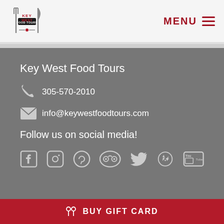[Figure (logo): Key West Food Tours logo with fork and knife icons]
MENU
Key West Food Tours
305-570-2010
info@keywestfoodtours.com
Follow us on social media!
[Figure (illustration): Social media icons: Facebook, Instagram, Pinterest, TripAdvisor, Twitter, Yelp, YouTube]
BUY GIFT CARD